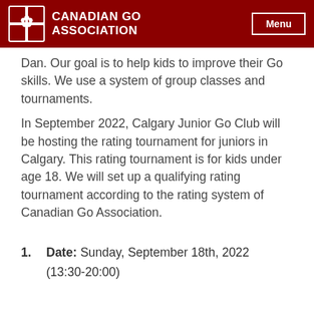CANADIAN GO ASSOCIATION | Menu
Dan. Our goal is to help kids to improve their Go skills. We use a system of group classes and tournaments.
In September 2022, Calgary Junior Go Club will be hosting the rating tournament for juniors in Calgary. This rating tournament is for kids under age 18. We will set up a qualifying rating tournament according to the rating system of Canadian Go Association.
1. Date: Sunday, September 18th, 2022 (13:30-20:00)
2. Location: Edgemont Community Association, 33 Edgevalley Circle NW
Calgary, Canada